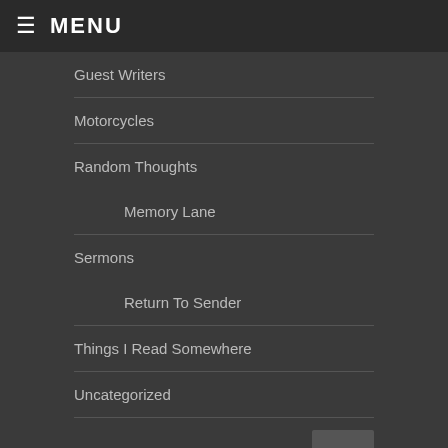MENU
Guest Writers
Motorcycles
Random Thoughts
Memory Lane
Sermons
Return To Sender
Things I Read Somewhere
Uncategorized
Posts by Date
August 2022